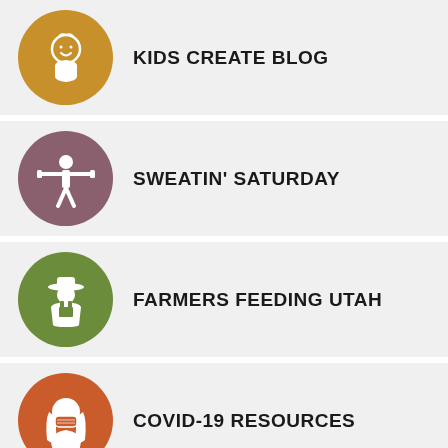KIDS CREATE BLOG
SWEATIN' SATURDAY
FARMERS FEEDING UTAH
COVID-19 RESOURCES